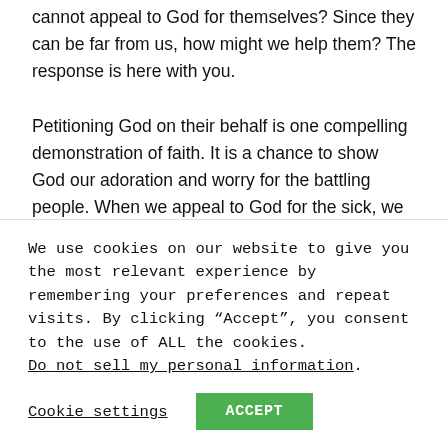cannot appeal to God for themselves? Since they can be far from us, how might we help them? The response is here with you.

Petitioning God on their behalf is one compelling demonstration of faith. It is a chance to show God our adoration and worry for the battling people. When we appeal to God for the sick, we request that God heal them. Depression is a complicated illness that can make it challenging to work on a regular daily basis. When we appeal
We use cookies on our website to give you the most relevant experience by remembering your preferences and repeat visits. By clicking “Accept”, you consent to the use of ALL the cookies.
Do not sell my personal information.
Cookie settings  ACCEPT